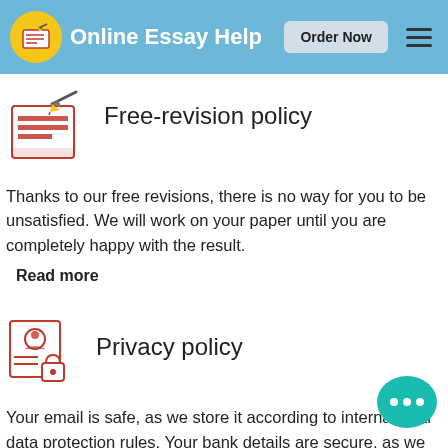Online Essay Help | Order Now
[Figure (logo): Document/essay icon with pencil, red lines on yellow-orange circular logo]
Free-revision policy
Thanks to our free revisions, there is no way for you to be unsatisfied. We will work on your paper until you are completely happy with the result.
Read more
[Figure (illustration): Person with lock icon, privacy-themed illustration in a square border]
Privacy policy
Your email is safe, as we store it according to international data protection rules. Your bank details are secure, as we use reliable payment systems.
[Figure (illustration): Teal chat bubble with three dots (chat widget)]